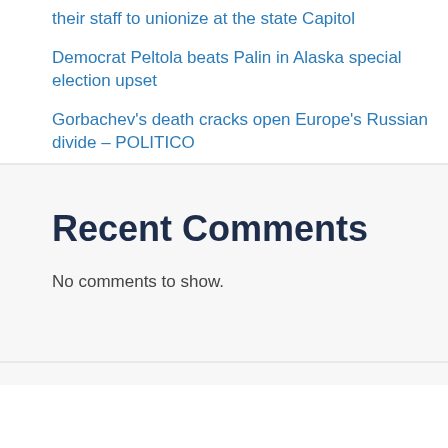their staff to unionize at the state Capitol
Democrat Peltola beats Palin in Alaska special election upset
Gorbachev's death cracks open Europe's Russian divide – POLITICO
Recent Comments
No comments to show.